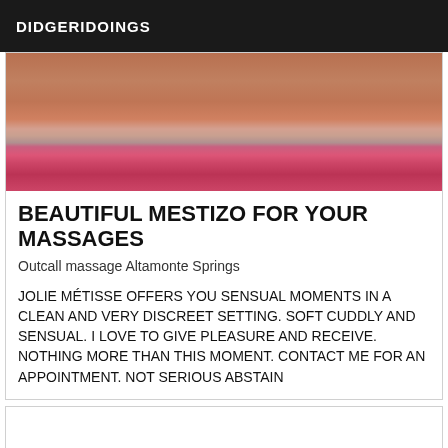DIDGERIDOINGS
[Figure (photo): Partial photo of a person showing torso/lower body with pink/red clothing, warm brown tones, used as listing image.]
BEAUTIFUL MESTIZO FOR YOUR MASSAGES
Outcall massage Altamonte Springs
JOLIE MÉTISSE OFFERS YOU SENSUAL MOMENTS IN A CLEAN AND VERY DISCREET SETTING. SOFT CUDDLY AND SENSUAL. I LOVE TO GIVE PLEASURE AND RECEIVE. NOTHING MORE THAN THIS MOMENT. CONTACT ME FOR AN APPOINTMENT. NOT SERIOUS ABSTAIN